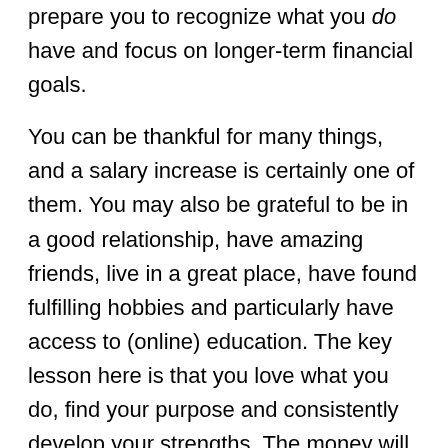prepare you to recognize what you do have and focus on longer-term financial goals.
You can be thankful for many things, and a salary increase is certainly one of them. You may also be grateful to be in a good relationship, have amazing friends, live in a great place, have found fulfilling hobbies and particularly have access to (online) education. The key lesson here is that you love what you do, find your purpose and consistently develop your strengths. The money will follow. It's the best investment you can make.
Further Reading: Best personal development